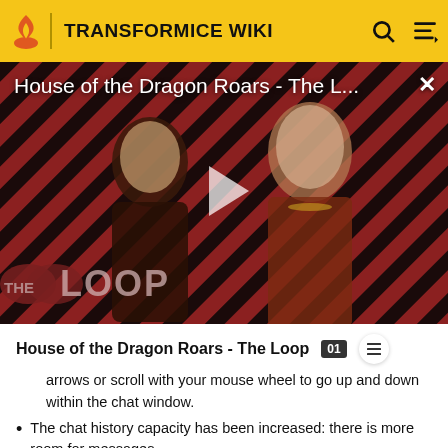TRANSFORMICE WIKI
[Figure (screenshot): Video thumbnail for 'House of the Dragon Roars - The L...' showing two characters from House of the Dragon TV show with a play button overlay and 'THE LOOP' branding in the lower left. Red and black diagonal striped background.]
House of the Dragon Roars - The Loop
arrows or scroll with your mouse wheel to go up and down within the chat window.
The chat history capacity has been increased: there is more room for messages.